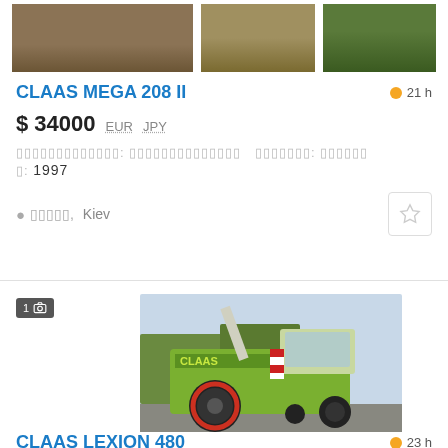[Figure (photo): Three thumbnail images of agricultural fields/crops at top of listing]
CLAAS MEGA 208 II
21 h
$ 34000  EUR  JPY
Виробництво: Великобританія  Область: Київська  р: 1997
Київ, Kiev
[Figure (photo): CLAAS green combine harvester, side view in a yard]
1 photo count badge
CLAAS LEXION 480
23 h